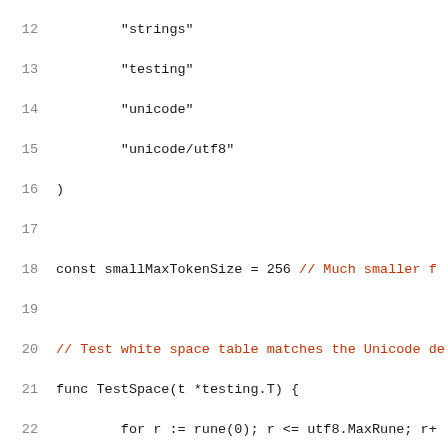Source code listing lines 12-32 of a Go test file showing string imports, TestSpace function, and scanTests variable declaration.